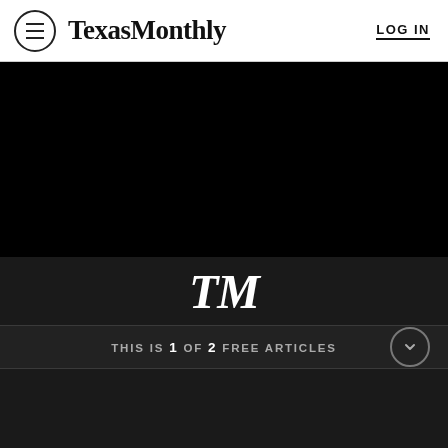TexasMonthly  LOG IN
[Figure (screenshot): Black hero image area]
[Figure (logo): TM italic serif logo in white on dark background]
THIS IS 1 OF 2 FREE ARTICLES
You’re Reading Your First Free Article
Subscribe now before you run out of road.
SUBSCRIBE NOW
Already a subscriber? Log in